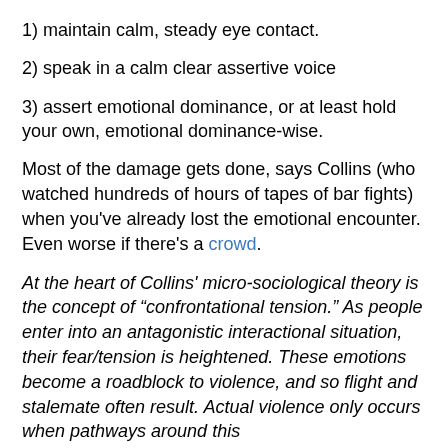1) maintain calm, steady eye contact.
2) speak in a calm clear assertive voice
3) assert emotional dominance, or at least hold your own, emotional dominance-wise.
Most of the damage gets done, says Collins (who watched hundreds of hours of tapes of bar fights) when you've already lost the emotional encounter.  Even worse if there's a crowd.
At the heart of Collins' micro-sociological theory is the concept of “confrontational tension.” As people enter into an antagonistic interactional situation, their fear/tension is heightened. These emotions become a roadblock to violence, and so flight and stalemate often result. Actual violence only occurs when pathways around this